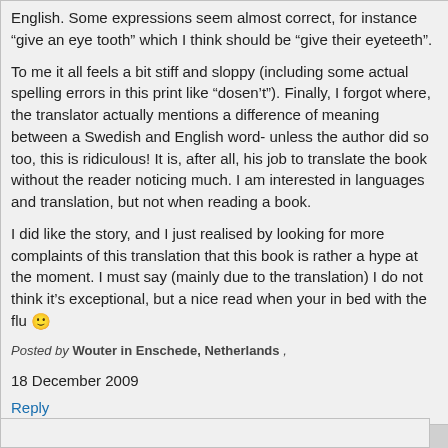English. Some expressions seem almost correct, for instance “give an eye tooth” which I think should be “give their eyeteeth”.
To me it all feels a bit stiff and sloppy (including some actual spelling errors in this print like “dosen’t”). Finally, I forgot where, the translator actually mentions a difference of meaning between a Swedish and English word- unless the author did so too, this is ridiculous! It is, after all, his job to translate the book without the reader noticing much. I am interested in languages and translation, but not when reading a book.
I did like the story, and I just realised by looking for more complaints of this translation that this book is rather a hype at the moment. I must say (mainly due to the translation) I do not think it’s exceptional, but a nice read when your in bed with the flu 🙂
Posted by Wouter in Enschede, Netherlands ,
18 December 2009
Reply